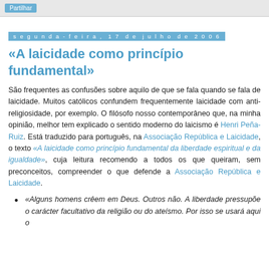Partilhar
segunda-feira, 17 de julho de 2006
«A laicidade como princípio fundamental»
São frequentes as confusões sobre aquilo de que se fala quando se fala de laicidade. Muitos católicos confundem frequentemente laicidade com anti-religiosidade, por exemplo. O filósofo nosso contemporâneo que, na minha opinião, melhor tem explicado o sentido moderno do laicismo é Henri Peña-Ruiz. Está traduzido para português, na Associação República e Laicidade, o texto «A laicidade como princípio fundamental da liberdade espiritual e da igualdade», cuja leitura recomendo a todos os que queiram, sem preconceitos, compreender o que defende a Associação República e Laicidade.
«Alguns homens crêem em Deus. Outros não. A liberdade pressupõe o carácter facultativo da religião ou do ateísmo. Por isso se usará aqui o